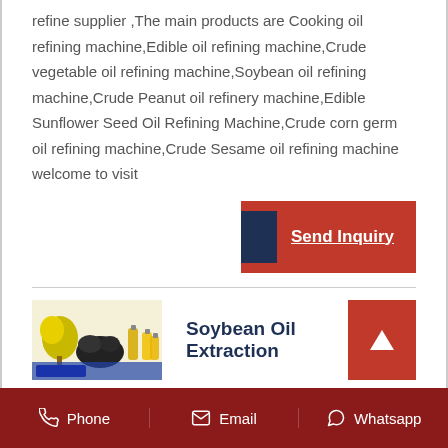refine supplier ,The main products are Cooking oil refining machine,Edible oil refining machine,Crude vegetable oil refining machine,Soybean oil refining machine,Crude Peanut oil refinery machine,Edible Sunflower Seed Oil Refining Machine,Crude corn germ oil refining machine,Crude Sesame oil refining machine welcome to visit
[Figure (other): Send Inquiry button with dark navy left block and red right section with underlined white bold text]
[Figure (photo): Product thumbnail showing soybean oil extraction related images: plant, black seeds, oil bottles]
Soybean Oil Extraction
Phone   Email   Whatsapp